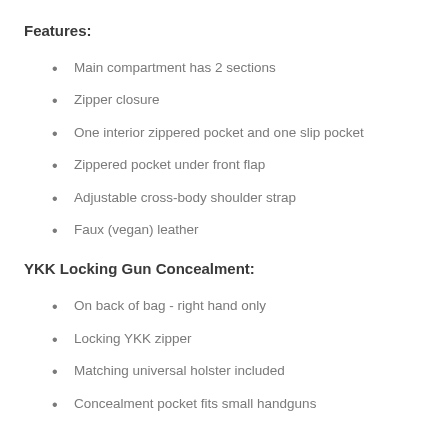Features:
Main compartment has 2 sections
Zipper closure
One interior zippered pocket and one slip pocket
Zippered pocket under front flap
Adjustable cross-body shoulder strap
Faux (vegan) leather
YKK Locking Gun Concealment:
On back of bag - right hand only
Locking YKK zipper
Matching universal holster included
Concealment pocket fits small handguns